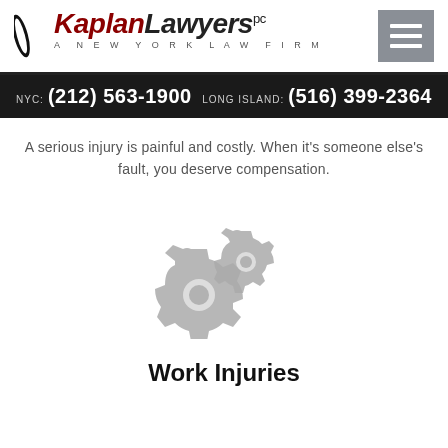Kaplan Lawyers PC - A New York Law Firm
NYC: (212) 563-1900   LONG ISLAND: (516) 399-2364
A serious injury is painful and costly. When it's someone else's fault, you deserve compensation.
[Figure (illustration): Two interlocking gray gear icons representing work/mechanical theme]
Work Injuries